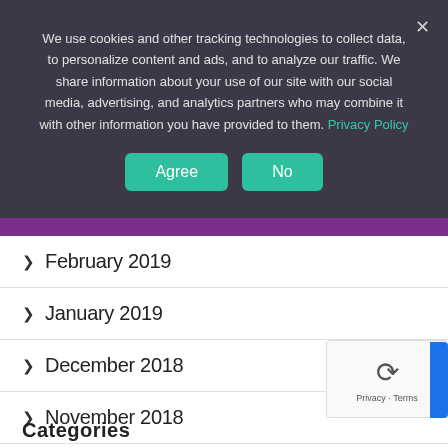We use cookies and other tracking technologies to collect data, to personalize content and ads, and to analyze our traffic. We share information about your use of our site with our social media, advertising, and analytics partners who may combine it with other information you have provided to them. Privacy Policy
February 2019
January 2019
December 2018
November 2018
Categories